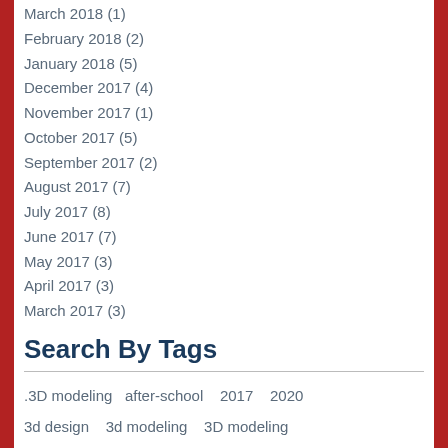March 2018 (1)
February 2018 (2)
January 2018 (5)
December 2017 (4)
November 2017 (1)
October 2017 (5)
September 2017 (2)
August 2017 (7)
July 2017 (8)
June 2017 (7)
May 2017 (3)
April 2017 (3)
March 2017 (3)
Search By Tags
.3D modeling   after-school   2017   2020
3d design   3d modeling   3D modeling
3d modeling activities silver spring